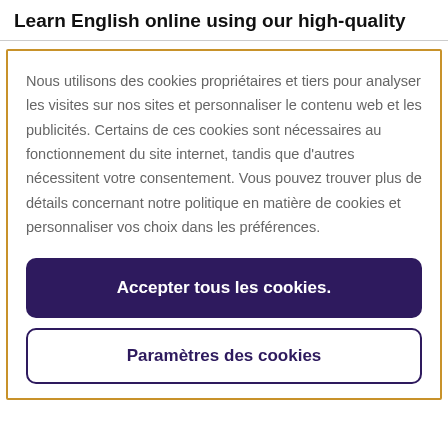Learn English online using our high-quality
Nous utilisons des cookies propriétaires et tiers pour analyser les visites sur nos sites et personnaliser le contenu web et les publicités. Certains de ces cookies sont nécessaires au fonctionnement du site internet, tandis que d'autres nécessitent votre consentement. Vous pouvez trouver plus de détails concernant notre politique en matière de cookies et personnaliser vos choix dans les préférences.
Accepter tous les cookies.
Paramètres des cookies